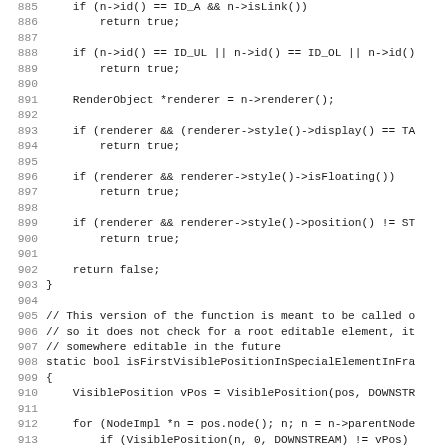[Figure (screenshot): Source code listing showing C++ function body lines 885-916, with line numbers in gray on the left and code in monospace font on the right. The code includes conditional checks on node properties and a static boolean function isFirstVisiblePositionInSpecialElementInFrame.]